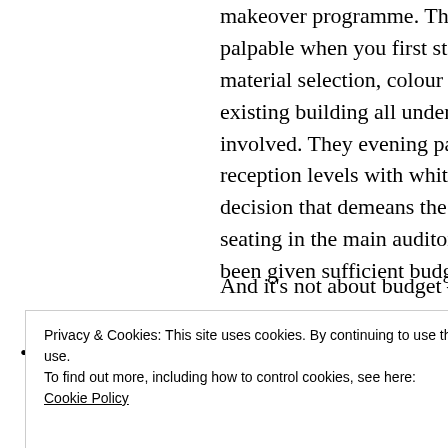makeover programme. The lack of sensitivity is palpable when you first step into the building – material selection, colour choice, the lack of respect for the existing building all underline the inexperience of the architects involved. They evening painted the existing brickwork at reception levels with white domestic paint! – a crass decision that demeans the existing building. The replacement seating in the main auditorium was another area that should have been given sufficient budgetary priority.
And it's not about budget – there are at least a dozen firms in London who have the prerequisite experience and expertise which could have made the 'Fairfield Halls
Privacy & Cookies: This site uses cookies. By continuing to use this website, you agree to their use. To find out more, including how to control cookies, see here: Cookie Policy
space.